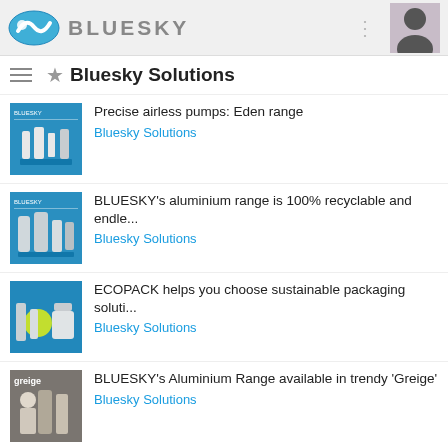BLUESKY
★ Bluesky Solutions
Precise airless pumps: Eden range
Bluesky Solutions
BLUESKY's aluminium range is 100% recyclable and endle...
Bluesky Solutions
ECOPACK helps you choose sustainable packaging soluti...
Bluesky Solutions
BLUESKY's Aluminium Range available in trendy 'Greige'
Bluesky Solutions